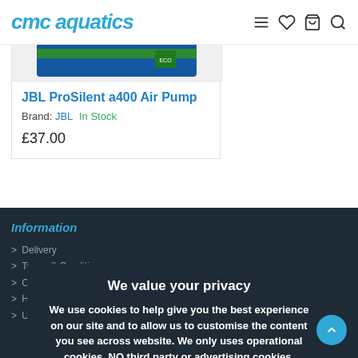cmc aquatics
[Figure (photo): Partial product image of JBL ProSilent a400 Air Pump box, showing green and blue packaging]
JBL ProSilent a400 Air Pump
Brand: JBL  In Stock
£37.00
Showing 1 to 19 of 19 (1 Pages)
Information
> Delivery
> Terms & Conditions
> Cookies
> How To Order
> Using Coupon Codes
We value your privacy
We use cookies to help give you the best experience on our site and to allow us to customise the content you see across website. We only uses operational cookies, NO third party or advertising cookies.
ALLOW COOKIES